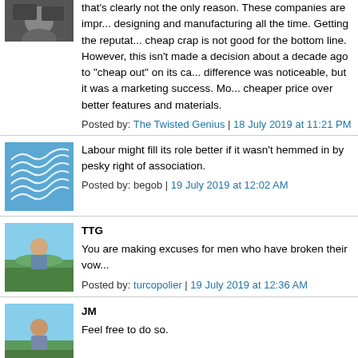that's clearly not the only reason. These companies are improving designing and manufacturing all the time. Getting the reputation for cheap crap is not good for the bottom line. However, this isn't made a decision about a decade ago to "cheap out" on its ca... difference was noticeable, but it was a marketing success. M... cheaper price over better features and materials.
Posted by: The Twisted Genius | 18 July 2019 at 11:21 PM
Labour might fill its role better if it wasn't hemmed in by pesky right of association.
Posted by: begob | 19 July 2019 at 12:02 AM
TTG
You are making excuses for men who have broken their vow...
Posted by: turcopolier | 19 July 2019 at 12:36 AM
JM
Feel free to do so.